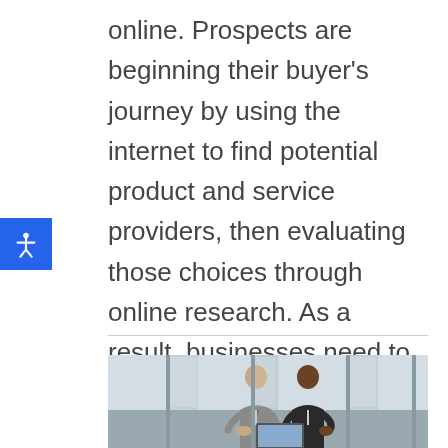online. Prospects are beginning their buyer's journey by using the internet to find potential product and service providers, then evaluating those choices through online research. As a result, businesses need to make sure their online presence satisfies the informational needs, and makes emotional connections with, prospective buyers.
[Figure (photo): Two businessmen sitting and looking at a laptop together, in a modern office or lobby with large windows, one in a grey suit and one in a dark suit]